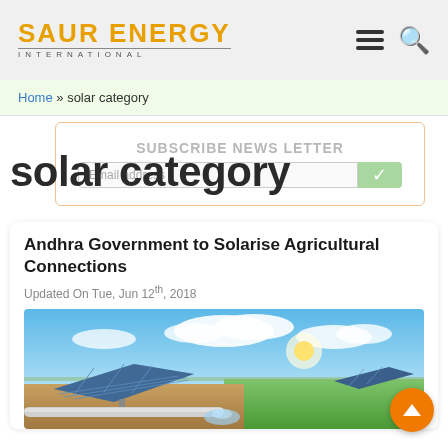SAUR ENERGY INTERNATIONAL
Home » solar category
SUBSCRIBE NEWS LETTER
solar category
Andhra Government to Solarise Agricultural Connections
Updated On Tue, Jun 12th, 2018
[Figure (photo): Solar panels in an agricultural field with blue sky, clouds, and green crops in the background, with irrigation pipes in the foreground]